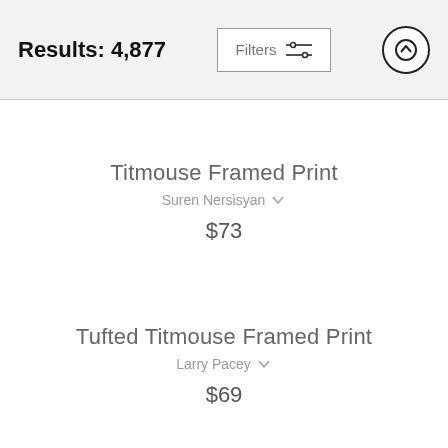Results: 4,877
Titmouse Framed Print
Suren Nersisyan
$73
Tufted Titmouse Framed Print
Larry Pacey
$69